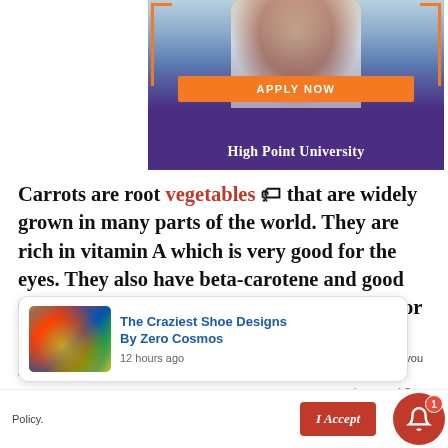[Figure (illustration): High Point University advertisement banner with a woman in a lab coat working on a laptop, orange 'APPLY NOW' button, and university name in white on purple background]
Carrots are root vegetables 🏷 that are widely grown in many parts of the world. They are rich in vitamin A which is very good for the eyes. They also have beta-carotene and good fiber content. They are usually orange in color but there are also the white, purple, red and yellow 🏷 varieties.
[Figure (screenshot): Notification popup: 'The Craziest Shoe Designs By Zero Cosmos' with colorful shoes image, posted 12 hours ago]
[Figure (infographic): Cookie consent bar at bottom with 'is website you are' and 'ivacy and C... Policy.' text, with 'I Accept' red button and bell notification icon with badge '1']